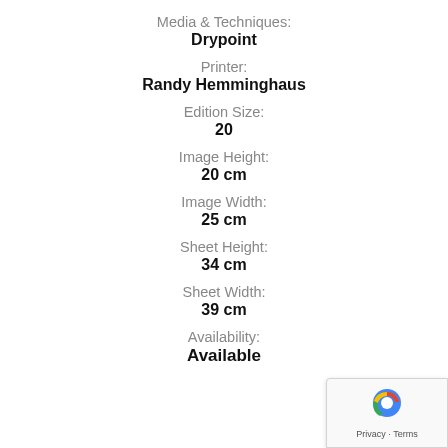Media & Techniques:
Drypoint
Printer:
Randy Hemminghaus
Edition Size:
20
Image Height:
20 cm
Image Width:
25 cm
Sheet Height:
34 cm
Sheet Width:
39 cm
Availability:
Available